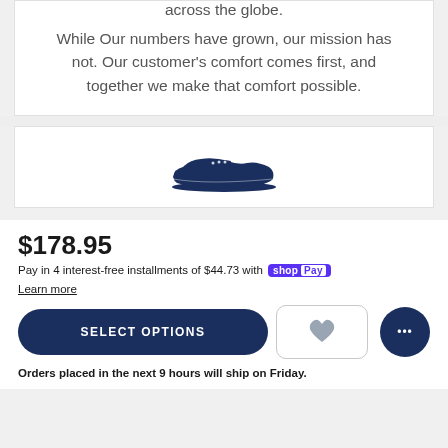across the globe.
While Our numbers have grown, our mission has not. Our customer's comfort comes first, and together we make that comfort possible.
[Figure (illustration): Dark navy blue shoe/sneaker icon silhouette facing right]
$178.95
Pay in 4 interest-free installments of $44.73 with shop Pay
Learn more
SELECT OPTIONS
Orders placed in the next 9 hours will ship on Friday.